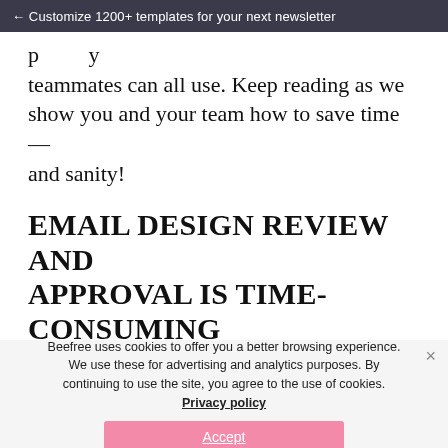← Customize 1200+ templates for your next newsletter
p[artially visible text] teammates can all use. Keep reading as we show you and your team how to save time—and sanity!
EMAIL DESIGN REVIEW AND APPROVAL IS TIME-CONSUMING
[partially visible faded line]
Beefree uses cookies to offer you a better browsing experience. We use these for advertising and analytics purposes. By continuing to use the site, you agree to the use of cookies. Privacy policy
Accept